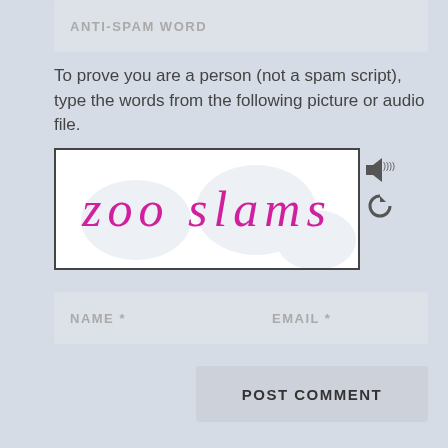ANTI-SPAM WORD
To prove you are a person (not a spam script), type the words from the following picture or audio file.
[Figure (screenshot): CAPTCHA image showing handwritten-style text 'zoo slams' in pink/magenta on white background with light watermark, plus speaker and refresh icons to the right]
NAME *
EMAIL *
POST COMMENT
SEARCH ...
MY AMAZON AUTHOR'S PAGE
[Figure (photo): Partial photo of a person (author) wearing a hat, cropped at bottom of page]